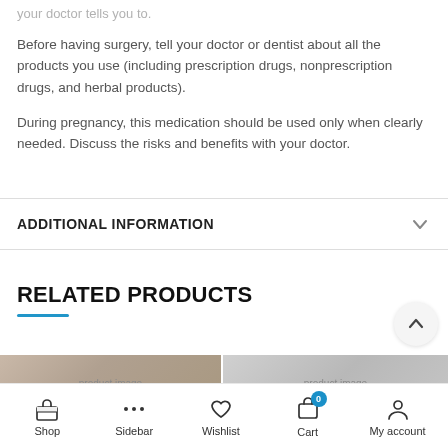your doctor tells you to.
Before having surgery, tell your doctor or dentist about all the products you use (including prescription drugs, nonprescription drugs, and herbal products).
During pregnancy, this medication should be used only when clearly needed. Discuss the risks and benefits with your doctor.
ADDITIONAL INFORMATION
RELATED PRODUCTS
[Figure (screenshot): Two partially visible product images at the bottom of the page]
Shop  Sidebar  Wishlist  Cart  My account